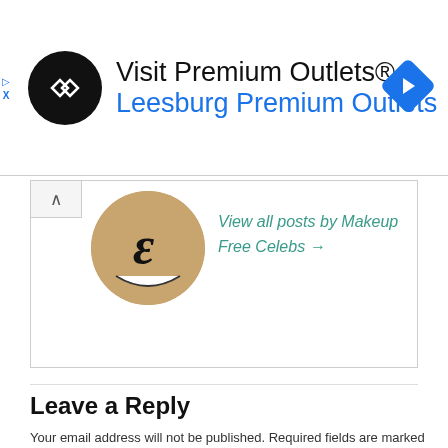[Figure (infographic): Advertisement banner for Visit Premium Outlets / Leesburg Premium Outlets, with a black circular logo featuring double arrow chevrons, text, and a blue diamond navigation icon.]
[Figure (illustration): Partial circular avatar showing a cartoon face with a coffee cup emoji, tan/brown background, cropped to show bottom half.]
View all posts by Makeup Free Celebs →
Leave a Reply
Your email address will not be published. Required fields are marked *
COMMENT *